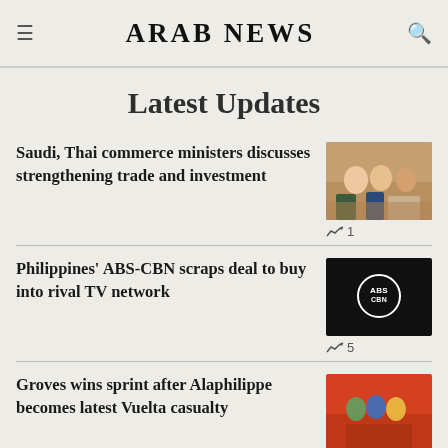ARAB NEWS
Latest Updates
Saudi, Thai commerce ministers discusses strengthening trade and investment
1
Philippines' ABS-CBN scraps deal to buy into rival TV network
5
Groves wins sprint after Alaphilippe becomes latest Vuelta casualty